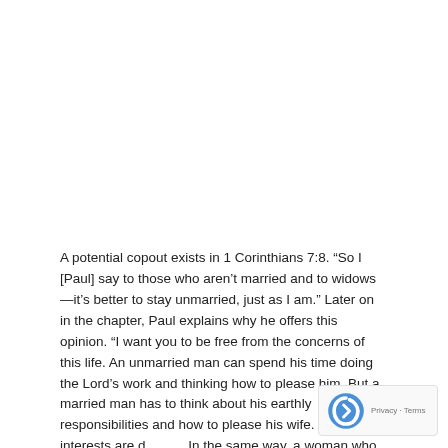A potential copout exists in 1 Corinthians 7:8. “So I [Paul] say to those who aren’t married and to widows—it’s better to stay unmarried, just as I am.” Later on in the chapter, Paul explains why he offers this opinion. “I want you to be free from the concerns of this life. An unmarried man can spend his time doing the Lord’s work and thinking how to please him. But a married man has to think about his earthly responsibilities and how to please his wife. His interests are divided. In the same way, a woman who is no longer married or has never been married can be devoted to the Lord and holy in body and spirit. But a married woman has to think about her earthly